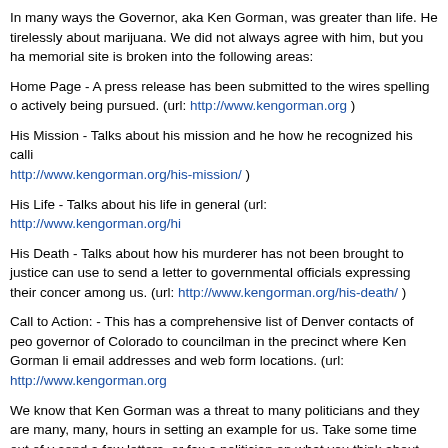In many ways the Governor, aka Ken Gorman, was greater than life. He tirelessly about marijuana. We did not always agree with him, but you ha memorial site is broken into the following areas:
Home Page - A press release has been submitted to the wires spelling o actively being pursued. (url: http://www.kengorman.org )
His Mission - Talks about his mission and he how he recognized his calli http://www.kengorman.org/his-mission/ )
His Life - Talks about his life in general (url: http://www.kengorman.org/hi
His Death - Talks about how his murderer has not been brought to justice can use to send a letter to governmental officials expressing their concer among us. (url: http://www.kengorman.org/his-death/ )
Call to Action: - This has a comprehensive list of Denver contacts of peo governor of Colorado to councilman in the precinct where Ken Gorman li email addresses and web form locations. (url: http://www.kengorman.org
We know that Ken Gorman was a threat to many politicians and they are many, many, hours in setting an example for us. Take some time out of y send a few letters, or fax a politician on what you think about the fact tha death. Ken did so much for us, so let us do something for him.
Other Areas of Interest on the Memorial Site
Videos - http://www.kengorman.org/videos/